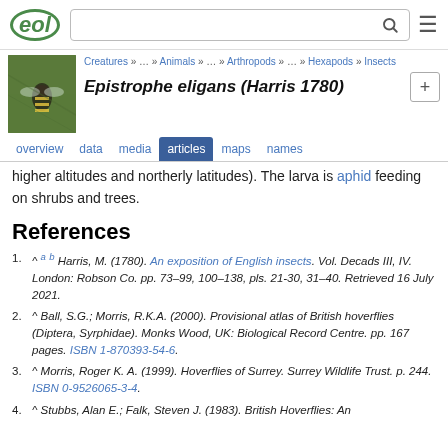EOL — Encyclopedia of Life header with search bar
[Figure (photo): Photo of Epistrophe eligans hoverfly on a green leaf]
Creatures » … » Animals » … » Arthropods » … » Hexapods » Insects
Epistrophe eligans (Harris 1780)
overview  data  media  articles  maps  names
higher altitudes and northerly latitudes). The larva is aphid feeding on shrubs and trees.
References
^ a b Harris, M. (1780). An exposition of English insects. Vol. Decads III, IV. London: Robson Co. pp. 73–99, 100–138, pls. 21-30, 31–40. Retrieved 16 July 2021.
^ Ball, S.G.; Morris, R.K.A. (2000). Provisional atlas of British hoverflies (Diptera, Syrphidae). Monks Wood, UK: Biological Record Centre. pp. 167 pages. ISBN 1-870393-54-6.
^ Morris, Roger K. A. (1999). Hoverflies of Surrey. Surrey Wildlife Trust. p. 244. ISBN 0-9526065-3-4.
^ Stubbs, Alan E.; Falk, Steven J. (1983). British Hoverflies: An